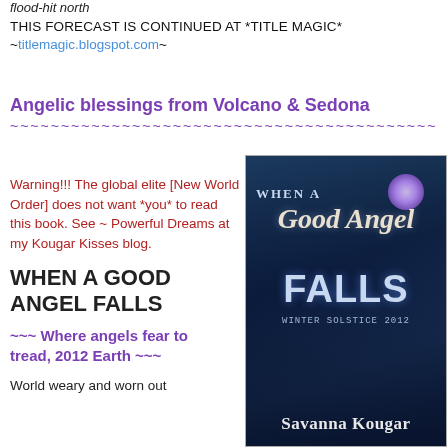flood-hit north
THIS FORECAST IS CONTINUED AT *TITLE MAGIC* ~titlemagic.blogspot.com~
Angelic blessings from Volcano & Sedona
~~~~~~~~~~~~~~~~~~~~~~~~~~~~~~~~~~~~~~~~~~
Warning!!! The global elite [New World Order] does not want *you* to read this book. See ~ Powerful Dreams at my Kougar Kisses blog.
WHEN A GOOD ANGEL FALLS
~~~ Where angels fear to tread, 2012 Earth ~~~
World weary and worn out
[Figure (illustration): Book cover for 'When a Good Angel Falls' by Savanna Kougar, Winter Solstice 2012. Dark blue atmospheric cover showing silhouetted figures with a purple moon glow.]